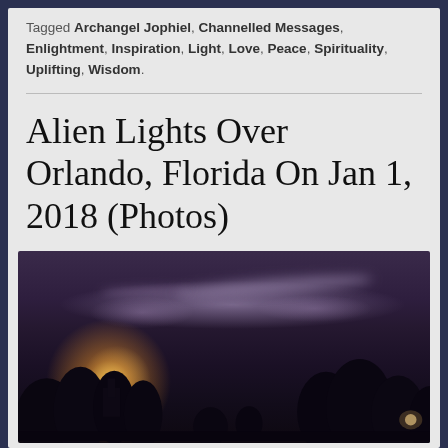Tagged Archangel Jophiel, Channelled Messages, Enlightment, Inspiration, Light, Love, Peace, Spirituality, Uplifting, Wisdom.
Alien Lights Over Orlando, Florida On Jan 1, 2018 (Photos)
[Figure (photo): Night sky photo showing mysterious glowing lights/beams over Orlando, Florida, with dark tree silhouettes in the foreground and ambient city lights visible.]